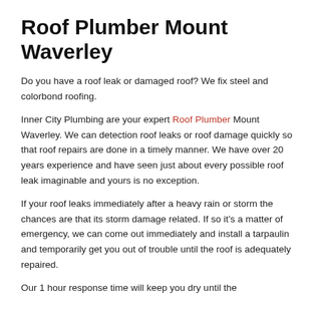Roof Plumber Mount Waverley
Do you have a roof leak or damaged roof? We fix steel and colorbond roofing.
Inner City Plumbing are your expert Roof Plumber Mount Waverley. We can detection roof leaks or roof damage quickly so that roof repairs are done in a timely manner. We have over 20 years experience and have seen just about every possible roof leak imaginable and yours is no exception.
If your roof leaks immediately after a heavy rain or storm the chances are that its storm damage related. If so it’s a matter of emergency, we can come out immediately and install a tarpaulin and temporarily get you out of trouble until the roof is adequately repaired.
Our 1 hour response time will keep you dry until the